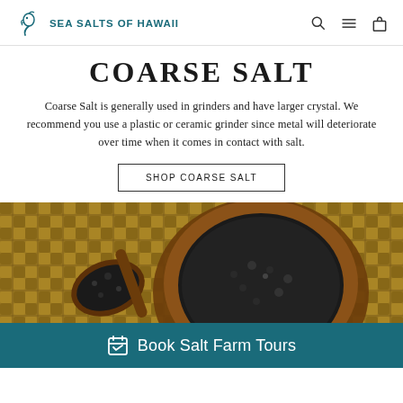Sea Salts of Hawaii
COARSE SALT
Coarse Salt is generally used in grinders and have larger crystal. We recommend you use a plastic or ceramic grinder since metal will deteriorate over time when it comes in contact with salt.
SHOP COARSE SALT
[Figure (photo): Black sea salt in a wooden bowl and wooden spoon on a woven wicker/bamboo mat background, with a teal banner at the bottom reading 'Book Salt Farm Tours']